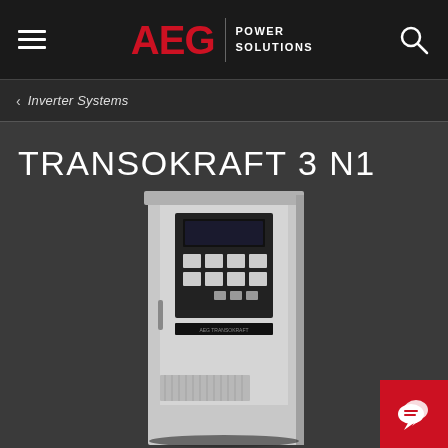AEG POWER SOLUTIONS
< Inverter Systems
TRANSOKRAFT 3 N1
[Figure (photo): Industrial inverter unit - TRANSOKRAFT 3 N1 product photo showing a tall white/grey cabinet-style power inverter with control panel including display and buttons mounted on the front door, ventilation grille at bottom.]